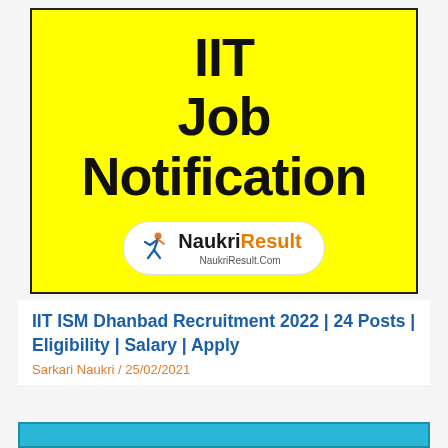[Figure (illustration): Yellow banner with bold black text reading 'IIT Job Notification' and NaukriResult.com logo (runner figure, Naukri in black, Result in orange) in a white oval at the bottom.]
IIT ISM Dhanbad Recruitment 2022 | 24 Posts | Eligibility | Salary | Apply
Sarkari Naukri / 25/02/2021